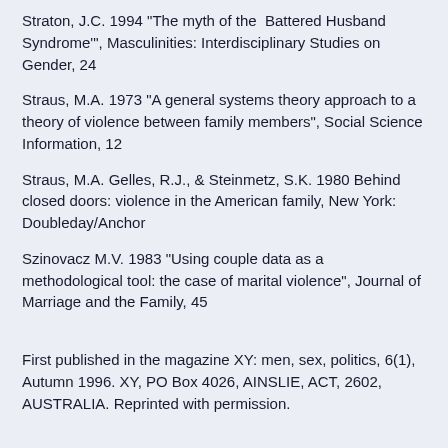Straton, J.C. 1994 "The myth of the  Battered Husband Syndrome'", Masculinities: Interdisciplinary Studies on Gender, 24
Straus, M.A. 1973 "A general systems theory approach to a theory of violence between family members", Social Science Information, 12
Straus, M.A. Gelles, R.J., & Steinmetz, S.K. 1980 Behind closed doors: violence in the American family, New York: Doubleday/Anchor
Szinovacz M.V. 1983 "Using couple data as a methodological tool: the case of marital violence", Journal of Marriage and the Family, 45
First published in the magazine XY: men, sex, politics, 6(1), Autumn 1996. XY, PO Box 4026, AINSLIE, ACT, 2602, AUSTRALIA. Reprinted with permission.